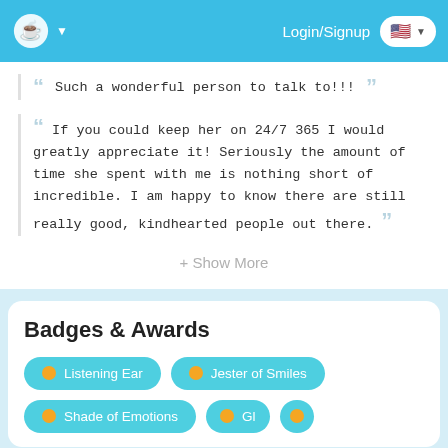Login/Signup
Such a wonderful person to talk to!!!
If you could keep her on 24/7 365 I would greatly appreciate it! Seriously the amount of time she spent with me is nothing short of incredible. I am happy to know there are still really good, kindhearted people out there.
+ Show More
Badges & Awards
Listening Ear
Jester of Smiles